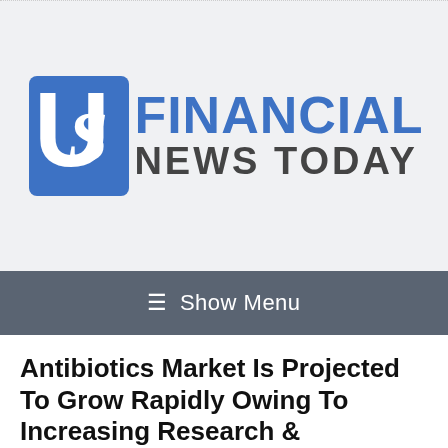[Figure (logo): US Financial News Today logo with stylized US letters icon in blue and bold text FINANCIAL NEWS TODAY]
≡ Show Menu
Antibiotics Market Is Projected To Grow Rapidly Owing To Increasing Research & Development by Pharmaceutical Companies Till 2024 | Million Insights